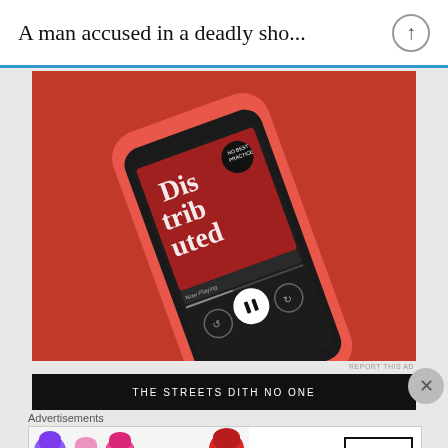A man accused in a deadly sho...
[Figure (photo): Smartphone on a red background displaying a podcast app playing 'Distributed' episode]
REPORT THIS AD
[Figure (screenshot): Black bar with text 'THE STREETS DITH NO ONE']
Advertisements
[Figure (photo): MAC cosmetics advertisement showing lipsticks with SHOP NOW button]